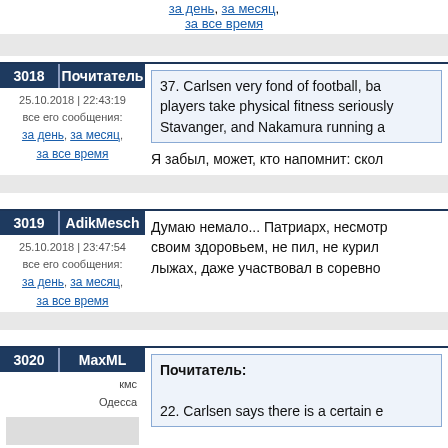за день, за месяц, за все время
3018 | Почитатель | 25.10.2018 | 22:43:19 | все его сообщения: за день, за месяц, за все время
37. Carlsen very fond of football, ba... players take physical fitness seriously... Stavanger, and Nakamura running a...
Я забыл, может, кто напомнит: скол...
3019 | AdikMesch | 25.10.2018 | 23:47:54 | все его сообщения: за день, за месяц, за все время
Думаю немало... Патриарх, несмотря... своим здоровьем, не пил, не курил... лыжах, даже участвовал в соревно...
3020 | MaxML | кмс | Одесса
Почитатель:
22. Carlsen says there is a certain e...